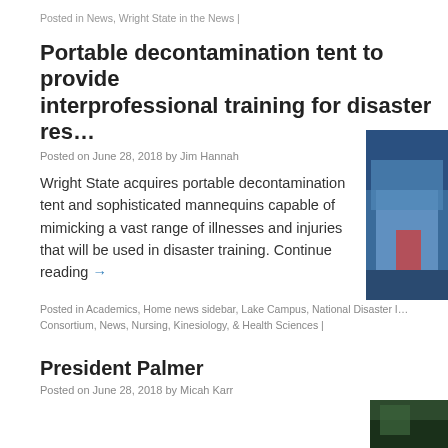Posted in News, Wright State in the News |
Portable decontamination tent to provide interprofessional training for disaster res…
Posted on June 28, 2018 by Jim Hannah
Wright State acquires portable decontamination tent and sophisticated mannequins capable of mimicking a vast range of illnesses and injuries that will be used in disaster training. Continue reading →
[Figure (photo): Photo of a blue decontamination tent setup outdoors]
Posted in Academics, Home news sidebar, Lake Campus, National Disaster I… Consortium, News, Nursing, Kinesiology, & Health Sciences |
President Palmer
Posted on June 28, 2018 by Micah Karr
[Figure (photo): Photo partially visible at bottom right corner]